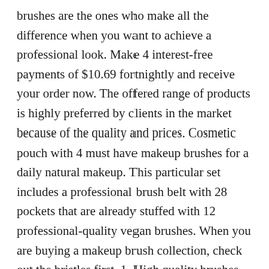brushes are the ones who make all the difference when you want to achieve a professional look. Make 4 interest-free payments of $10.69 fortnightly and receive your order now. The offered range of products is highly preferred by clients in the market because of the quality and prices. Cosmetic pouch with 4 must have makeup brushes for a daily natural makeup. This particular set includes a professional brush belt with 28 pockets that are already stuffed with 12 professional-quality vegan brushes. When you are buying a makeup brush collection, check out the bristles first. 1. High quality brushes that are made from fiber hair. Sometimes buying a one-off makeup brush makes sense – like a replacement for one of your old brushes or one that fits a specific need, like a kabuki brush. The smooth flat